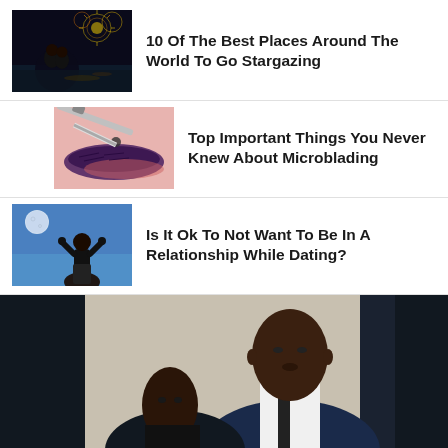[Figure (photo): Couple silhouetted against fireworks night sky]
10 Of The Best Places Around The World To Go Stargazing
[Figure (photo): Close-up of microblading procedure on eyebrow]
Top Important Things You Never Knew About Microblading
[Figure (photo): Woman silhouetted against blue sky with full moon]
Is It Ok To Not Want To Be In A Relationship While Dating?
[Figure (photo): Two people at a formal event, man in tuxedo]